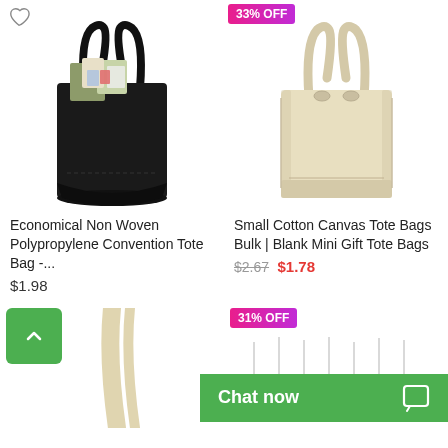[Figure (photo): Black non-woven tote bag with items inside]
[Figure (photo): Small natural cotton canvas tote bag with 33% OFF badge]
Economical Non Woven Polypropylene Convention Tote Bag -...
$1.98
Small Cotton Canvas Tote Bags Bulk | Blank Mini Gift Tote Bags
$2.67  $1.78
[Figure (photo): Partial view of natural tote bag handle, bottom row left]
[Figure (photo): Partial view of tote bag with 31% OFF badge, bottom row right]
Chat now